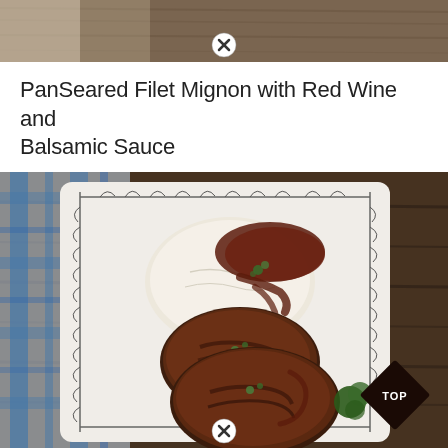[Figure (photo): Top portion of a food/recipe photo showing wooden table background, partially cropped with a close button (X in circle) overlay at bottom center]
PanSeared Filet Mignon with Red Wine and Balsamic Sauce
[Figure (photo): Photo of pan-seared filet mignon steak on a decorative white plate with leaf/fern border pattern, served with mashed potatoes and red wine balsamic sauce, placed on a wooden table with a blue plaid cloth napkin. A 'TOP' diamond badge appears in the bottom right corner and a close button (X in circle) overlay at bottom center.]